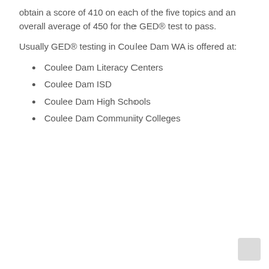obtain a score of 410 on each of the five topics and an overall average of 450 for the GED® test to pass.
Usually GED® testing in Coulee Dam WA is offered at:
Coulee Dam Literacy Centers
Coulee Dam ISD
Coulee Dam High Schools
Coulee Dam Community Colleges